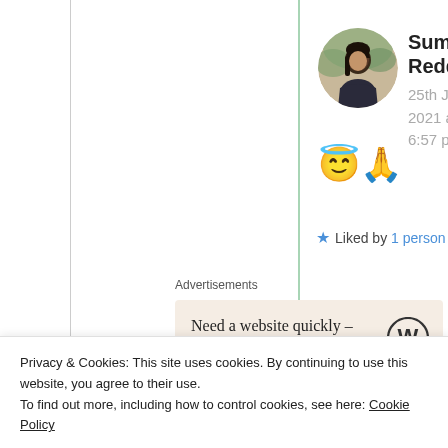Suma Reddy
25th Jun 2021 at 6:57 pm
😇🙏
★ Liked by 1 person
Advertisements
Need a website quickly – and on a budget?
Privacy & Cookies: This site uses cookies. By continuing to use this website, you agree to their use.
To find out more, including how to control cookies, see here: Cookie Policy
Close and accept